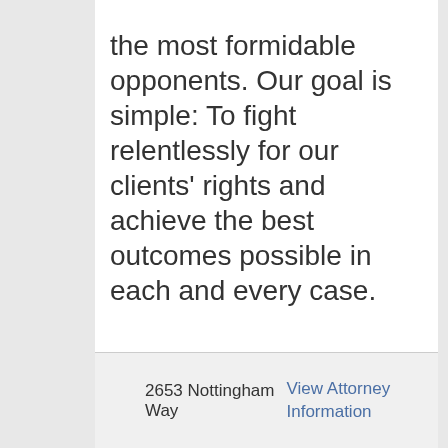the most formidable opponents. Our goal is simple: To fight relentlessly for our clients' rights and achieve the best outcomes possible in each and every case.
2653 Nottingham Way
View Attorney Information